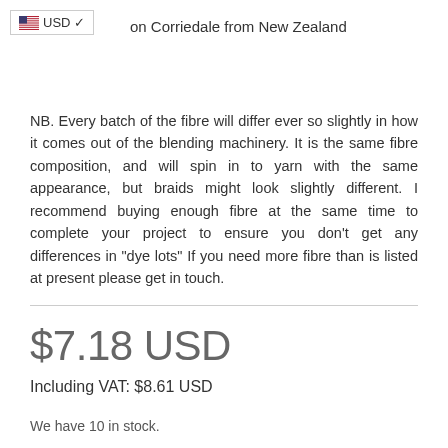USD  on Corriedale from New Zealand
NB. Every batch of the fibre will differ ever so slightly in how it comes out of the blending machinery. It is the same fibre composition, and will spin in to yarn with the same appearance, but braids might look slightly different. I recommend buying enough fibre at the same time to complete your project to ensure you don't get any differences in "dye lots" If you need more fibre than is listed at present please get in touch.
$7.18 USD
Including VAT: $8.61 USD
We have 10 in stock.